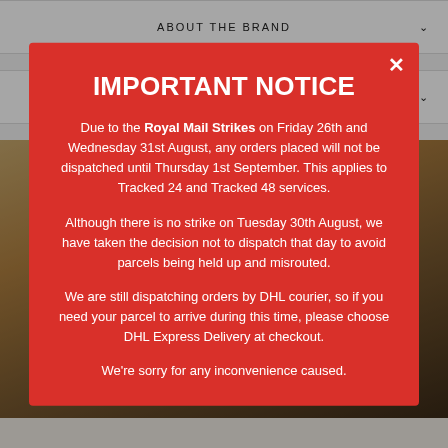ABOUT THE BRAND
INGREDIENTS
[Figure (photo): Background photo of people on a patterned rug/floor, partially visible behind modal overlay]
IMPORTANT NOTICE
Due to the Royal Mail Strikes on Friday 26th and Wednesday 31st August, any orders placed will not be dispatched until Thursday 1st September. This applies to Tracked 24 and Tracked 48 services.
Although there is no strike on Tuesday 30th August, we have taken the decision not to dispatch that day to avoid parcels being held up and misrouted.
We are still dispatching orders by DHL courier, so if you need your parcel to arrive during this time, please choose DHL Express Delivery at checkout.
We're sorry for any inconvenience caused.